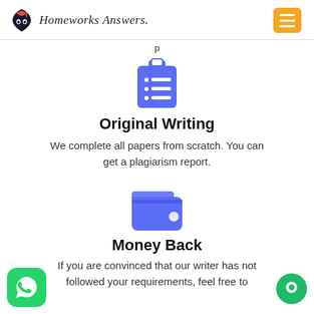Homeworks Answers.
[Figure (illustration): Clipboard with checklist icon in blue/purple color]
Original Writing
We complete all papers from scratch. You can get a plagiarism report.
[Figure (illustration): Wallet icon in blue/purple color]
Money Back
If you are convinced that our writer has not followed your requirements, feel free to